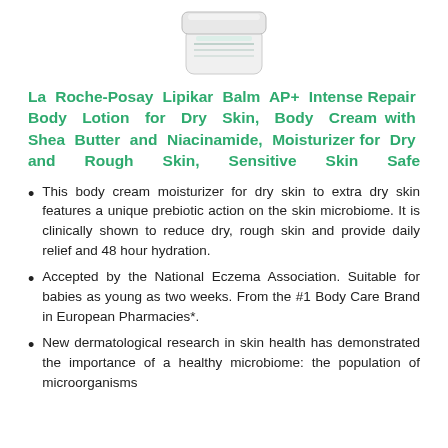[Figure (photo): Product photo of La Roche-Posay Lipikar Balm AP+ cream container, white jar with lid, shown from above at slight angle]
La Roche-Posay Lipikar Balm AP+ Intense Repair Body Lotion for Dry Skin, Body Cream with Shea Butter and Niacinamide, Moisturizer for Dry and Rough Skin, Sensitive Skin Safe
This body cream moisturizer for dry skin to extra dry skin features a unique prebiotic action on the skin microbiome. It is clinically shown to reduce dry, rough skin and provide daily relief and 48 hour hydration.
Accepted by the National Eczema Association. Suitable for babies as young as two weeks. From the #1 Body Care Brand in European Pharmacies*.
New dermatological research in skin health has demonstrated the importance of a healthy microbiome: the population of microorganisms